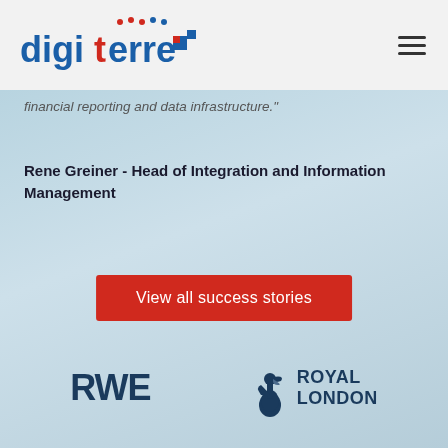[Figure (logo): Digiterre company logo with blue and red text and a square pixel-style icon]
[Figure (other): Hamburger menu icon (three horizontal lines)]
financial reporting and data infrastructure."
Rene Greiner - Head of Integration and Information Management
View all success stories
[Figure (logo): RWE company logo in dark navy bold text]
[Figure (logo): Royal London company logo with pelican bird illustration and ROYAL LONDON text]